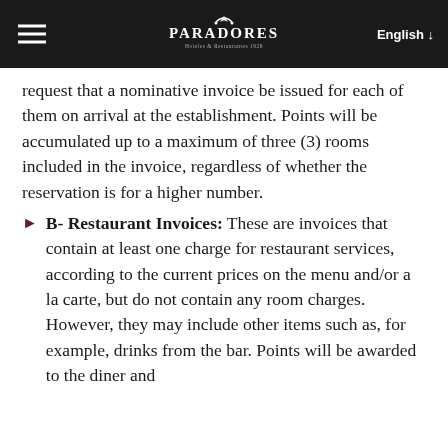PARADORES Hoteles & Restaurantes 1928 | English
request that a nominative invoice be issued for each of them on arrival at the establishment. Points will be accumulated up to a maximum of three (3) rooms included in the invoice, regardless of whether the reservation is for a higher number.
B- Restaurant Invoices: These are invoices that contain at least one charge for restaurant services, according to the current prices on the menu and/or a la carte, but do not contain any room charges. However, they may include other items such as, for example, drinks from the bar. Points will be awarded to the diner and